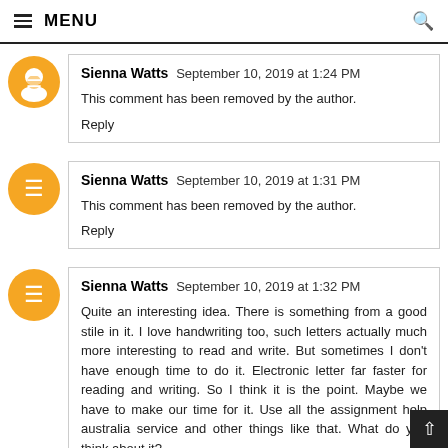≡ MENU
Sienna Watts September 10, 2019 at 1:24 PM
This comment has been removed by the author.
Reply
Sienna Watts September 10, 2019 at 1:31 PM
This comment has been removed by the author.
Reply
Sienna Watts September 10, 2019 at 1:32 PM
Quite an interesting idea. There is something from a good stile in it. I love handwriting too, such letters actually much more interesting to read and write. But sometimes I don't have enough time to do it. Electronic letter far faster for reading and writing. So I think it is the point. Maybe we have to make our time for it. Use all the assignment help australia service and other things like that. What do you think about it?